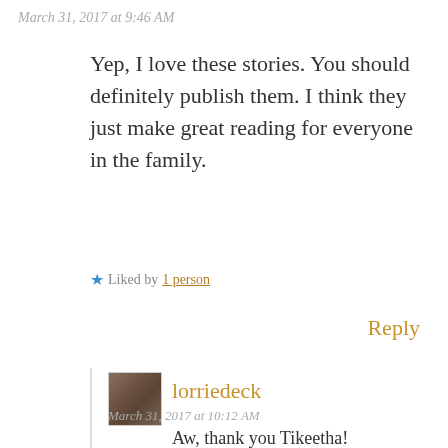March 31, 2017 at 9:46 AM
Yep, I love these stories. You should definitely publish them. I think they just make great reading for everyone in the family.
★ Liked by 1 person
Reply
lorriedeck
March 31, 2017 at 10:12 AM
Aw, thank you Tikeetha!